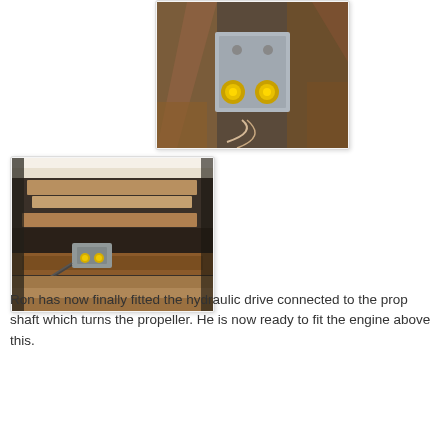[Figure (photo): Close-up photograph of a hydraulic drive component mounted on rusty metal frame with yellow-capped fittings and wiring visible]
[Figure (photo): Photograph showing hydraulic drive connected to prop shaft underneath a boat hull, viewed from below, showing wooden planking and metal components]
Ron has now finally fitted the hydraulic drive connected to the prop shaft which turns the propeller. He is now ready to fit the engine above this.